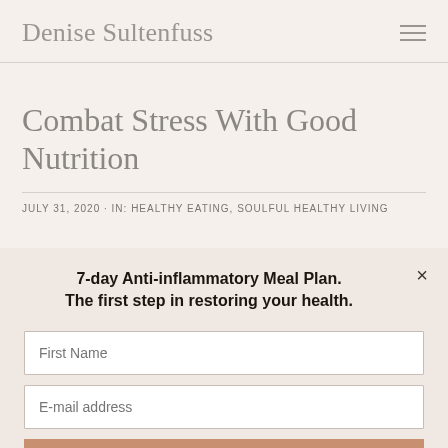Denise Sultenfuss
Combat Stress With Good Nutrition
JULY 31, 2020 · IN: HEALTHY EATING, SOULFUL HEALTHY LIVING
7-day Anti-inflammatory Meal Plan. The first step in restoring your health.
First Name
E-mail address
5-Day Lyme Disease Meal Plan